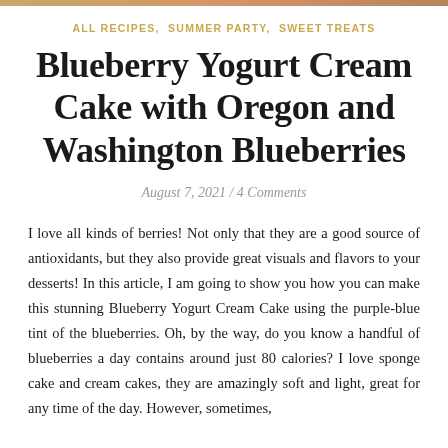ALL RECIPES, SUMMER PARTY, SWEET TREATS
Blueberry Yogurt Cream Cake with Oregon and Washington Blueberries
August 7, 2021 / 4 Comments
I love all kinds of berries! Not only that they are a good source of antioxidants, but they also provide great visuals and flavors to your desserts! In this article, I am going to show you how you can make this stunning Blueberry Yogurt Cream Cake using the purple-blue tint of the blueberries. Oh, by the way, do you know a handful of blueberries a day contains around just 80 calories? I love sponge cake and cream cakes, they are amazingly soft and light, great for any time of the day. However, sometimes,